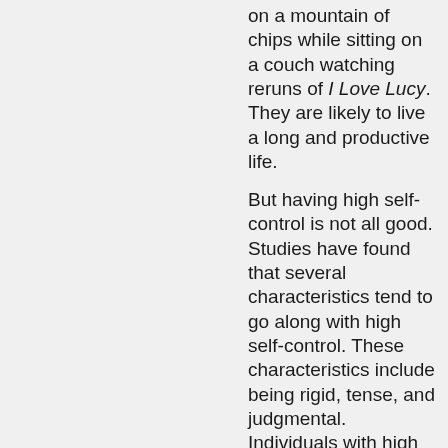on a mountain of chips while sitting on a couch watching reruns of I Love Lucy. They are likely to live a long and productive life.
But having high self-control is not all good. Studies have found that several characteristics tend to go along with high self-control. These characteristics include being rigid, tense, and judgmental. Individuals with high self-control tend to be low in creativity and in interpersonal warmth. Also, they tend to keep their emotions to themselves,